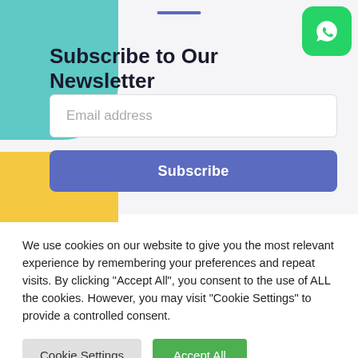Subscribe to Our Newsletter
Email address
Subscribe
We use cookies on our website to give you the most relevant experience by remembering your preferences and repeat visits. By clicking “Accept All”, you consent to the use of ALL the cookies. However, you may visit "Cookie Settings" to provide a controlled consent.
Cookie Settings
Accept All